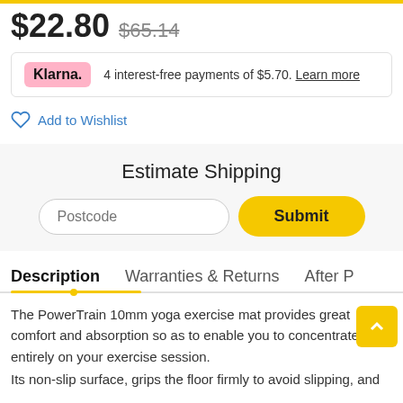$22.80  $65.14
Klarna. 4 interest-free payments of $5.70. Learn more
Add to Wishlist
Estimate Shipping
Postcode
Submit
Description
Warranties & Returns
After P
The PowerTrain 10mm yoga exercise mat provides great comfort and absorption so as to enable you to concentrate entirely on your exercise session.
Its non-slip surface, grips the floor firmly to avoid slipping, and